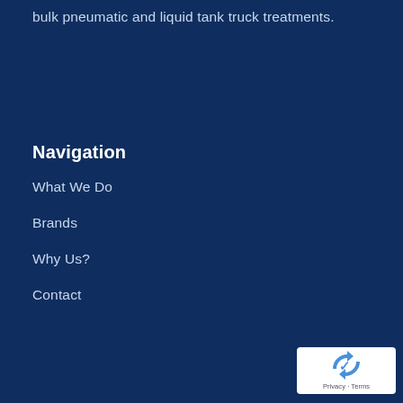bulk pneumatic and liquid tank truck treatments.
Navigation
What We Do
Brands
Why Us?
Contact
[Figure (logo): reCAPTCHA badge with spinning arrows icon and Privacy - Terms text]